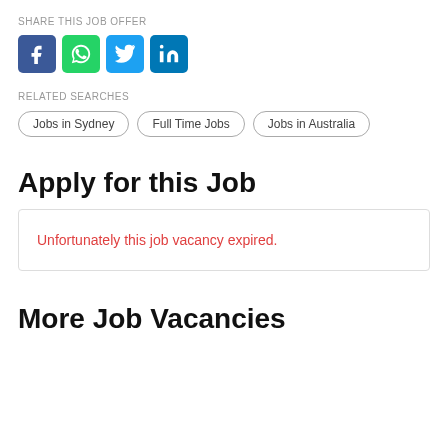SHARE THIS JOB OFFER
[Figure (other): Social media share buttons: Facebook (blue), WhatsApp (green), Twitter (light blue), LinkedIn (dark blue)]
RELATED SEARCHES
Jobs in Sydney
Full Time Jobs
Jobs in Australia
Apply for this Job
Unfortunately this job vacancy expired.
More Job Vacancies